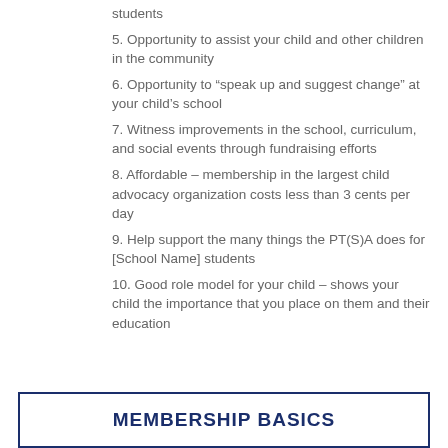students
5. Opportunity to assist your child and other children in the community
6. Opportunity to “speak up and suggest change” at your child’s school
7. Witness improvements in the school, curriculum, and social events through fundraising efforts
8. Affordable – membership in the largest child advocacy organization costs less than 3 cents per day
9. Help support the many things the PT(S)A does for [School Name] students
10. Good role model for your child – shows your child the importance that you place on them and their education
MEMBERSHIP BASICS